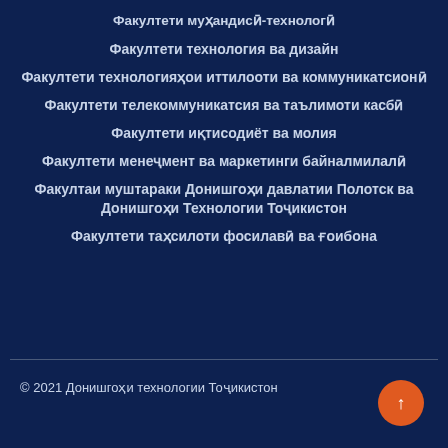Факултети муҳандисӣ-технологӣ
Факултети технология ва дизайн
Факултети технологияҳои иттилооти ва коммуникатсионӣ
Факултети телекоммуникатсия ва таълимоти касбӣ
Факултети иқтисодиёт ва молия
Факултети менеҷмент ва маркетинги байналмилалӣ
Факултаи муштараки Донишгоҳи давлатии Полотск ва Донишгоҳи Технологии Тоҷикистон
Факултети таҳсилоти фосилавӣ ва ғоибона
© 2021 Донишгоҳи технологии Тоҷикистон